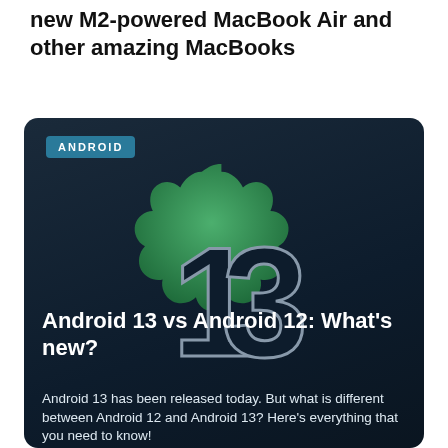new M2-powered MacBook Air and other amazing MacBooks
[Figure (illustration): Dark navy card with a green scalloped badge/seal shape containing a large '13' numeral in dark with silver outline. An 'ANDROID' teal label badge in top-left corner. Card title 'Android 13 vs Android 12: What's new?' in bold white text. Subtext: 'Android 13 has been released today. But what is different between Android 12 and Android 13? Here's everything that you need to know!']